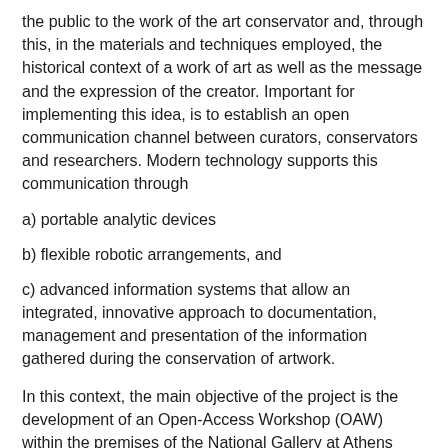the public to the work of the art conservator and, through this, in the materials and techniques employed, the historical context of a work of art as well as the message and the expression of the creator. Important for implementing this idea, is to establish an open communication channel between curators, conservators and researchers. Modern technology supports this communication through
a) portable analytic devices
b) flexible robotic arrangements, and
c) advanced information systems that allow an integrated, innovative approach to documentation, management and presentation of the information gathered during the conservation of artwork.
In this context, the main objective of the project is the development of an Open-Access Workshop (OAW) within the premises of the National Gallery at Athens (NGA), where researchers from IESL-FORTH and INPP-NCSR Demokritos